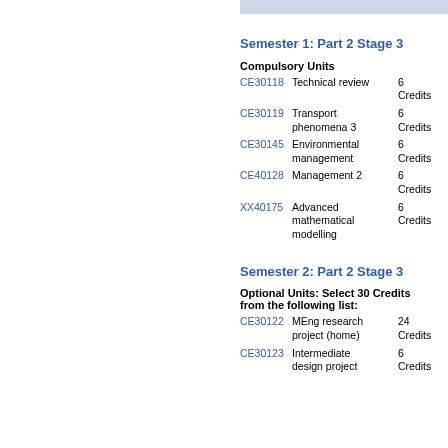Semester 1: Part 2 Stage 3
Compulsory Units
CE30118 Technical review 6 Credits
CE30119 Transport phenomena 3 6 Credits
CE30145 Environmental management 6 Credits
CE40128 Management 2 6 Credits
XX40175 Advanced mathematical modelling 6 Credits
Semester 2: Part 2 Stage 3
Optional Units: Select 30 Credits from the following list:
CE30122 MEng research project (home) 24 Credits
CE30123 Intermediate design project 6 Credits